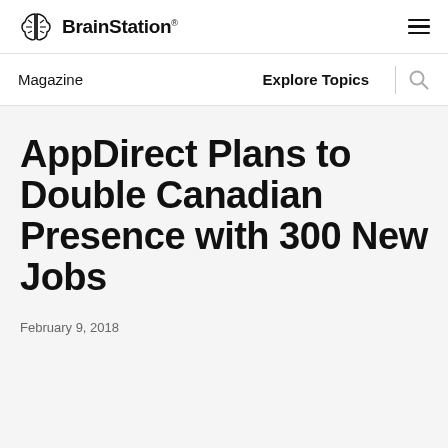BrainStation®
Magazine
Explore Topics
AppDirect Plans to Double Canadian Presence with 300 New Jobs
February 9, 2018